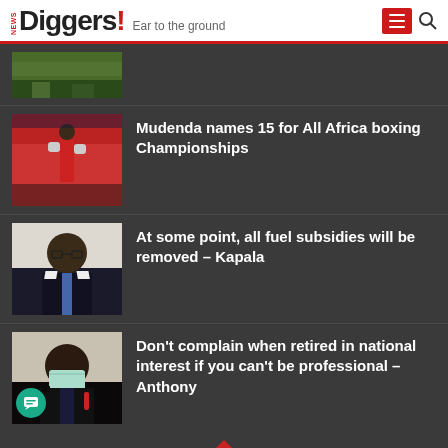News Diggers! Ear to the ground
[Figure (photo): Partial thumbnail of a grassy outdoor scene, top clipped]
[Figure (photo): Boxer in red shorts and gloves in a boxing ring]
Mudenda names 15 for All Africa boxing Championships
[Figure (photo): Black man in glasses wearing a suit and blue tie, official portrait]
At some point, all fuel subsidies will be removed – Kapala
[Figure (photo): Man wearing a surgical mask and dark suit, holding a microphone]
Don't complain when retired in national interest if you can't be professional – Anthony